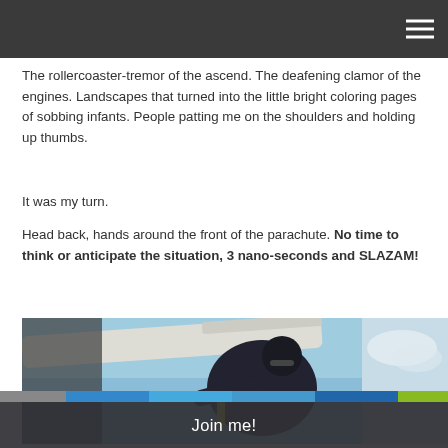The rollercoaster-tremor of the ascend. The deafening clamor of the engines. Landscapes that turned into the little bright coloring pages of sobbing infants. People patting me on the shoulders and holding up thumbs.
It was my turn.
Head back, hands around the front of the parachute. No time to think or anticipate the situation, 3 nano-seconds and SLAZAM!
[Figure (photo): Photo of a skydiver exiting or hanging near a plane, viewed from outside, with sky and plane fuselage visible.]
Join me!